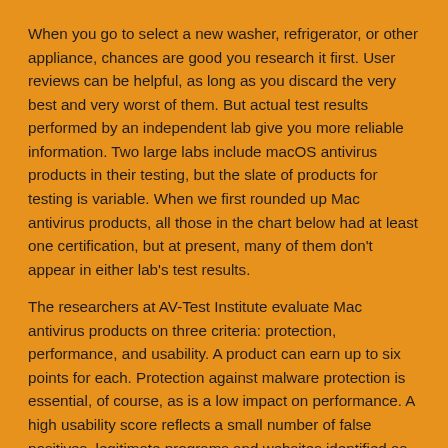When you go to select a new washer, refrigerator, or other appliance, chances are good you research it first. User reviews can be helpful, as long as you discard the very best and very worst of them. But actual test results performed by an independent lab give you more reliable information. Two large labs include macOS antivirus products in their testing, but the slate of products for testing is variable. When we first rounded up Mac antivirus products, all those in the chart below had at least one certification, but at present, many of them don't appear in either lab's test results.
The researchers at AV-Test Institute evaluate Mac antivirus products on three criteria: protection, performance, and usability. A product can earn up to six points for each. Protection against malware protection is essential, of course, as is a low impact on performance. A high usability score reflects a small number of false positives, legitimate programs and websites identified as dangerous. Several products achieved a perfect 18 points, all six points for all three criteria.